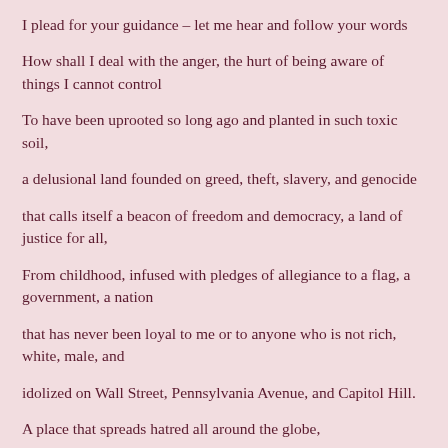I plead for your guidance – let me hear and follow your words
How shall I deal with the anger, the hurt of being aware of things I cannot control
To have been uprooted so long ago and planted in such toxic soil,
a delusional land founded on greed, theft, slavery, and genocide
that calls itself a beacon of freedom and democracy, a land of justice for all,
From childhood, infused with pledges of allegiance to a flag, a government, a nation
that has never been loyal to me or to anyone who is not rich, white, male, and
idolized on Wall Street, Pennsylvania Avenue, and Capitol Hill.
A place that spreads hatred all around the globe,
that takes your name in vain as it sinks colonial Christianity to new depths of depravity.